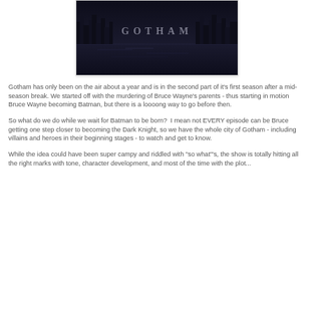[Figure (photo): Dark cityscape image with the word GOTHAM displayed in large letters over a nighttime city skyline reflected in water]
Gotham has only been on the air about a year and is in the second part of it's first season after a mid-season break. We started off with the murdering of Bruce Wayne's parents - thus starting in motion Bruce Wayne becoming Batman, but there is a loooong way to go before then.
So what do we do while we wait for Batman to be born?  I mean not EVERY episode can be Bruce getting one step closer to becoming the Dark Knight, so we have the whole city of Gotham - including villains and heroes in their beginning stages - to watch and get to know.
While the idea could have been super campy and riddled with "so what"'s, the show is totally hitting all the right marks with tone, character development, and most of the time with the plot...